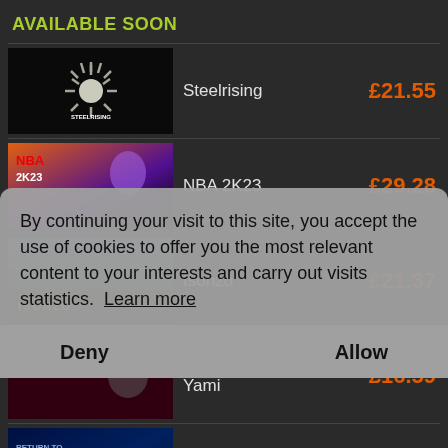AVAILABLE SOON
Steelrising  £21.55
NBA 2K23  £29.28
Isonzo  £21.37
Blind Fate: Edo no Yami  £16.59
Return to Monkey Island  £19.49
£34.03
£18.89
£31.65
£39.85
£10.79
By continuing your visit to this site, you accept the use of cookies to offer you the most relevant content to your interests and carry out visits statistics.  Learn more
Deny   Allow